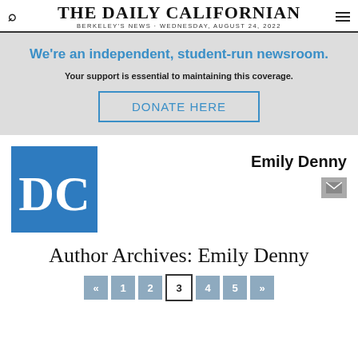THE DAILY CALIFORNIAN — BERKELEY'S NEWS · WEDNESDAY, AUGUST 24, 2022
We're an independent, student-run newsroom. Your support is essential to maintaining this coverage. DONATE HERE
[Figure (logo): The Daily Californian DC logo — white DC letters on blue square background]
Emily Denny
Author Archives: Emily Denny
« 1 2 3 4 5 »